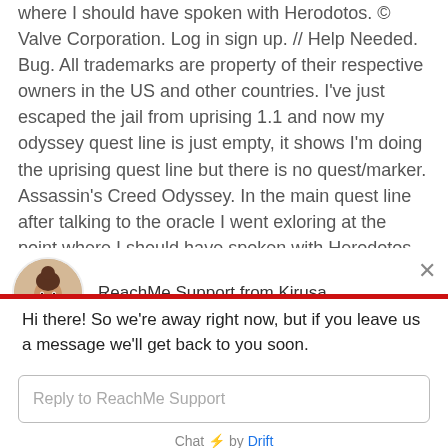where I should have spoken with Herodotos. © Valve Corporation. Log in sign up. // Help Needed. Bug. All trademarks are property of their respective owners in the US and other countries. I've just escaped the jail from uprising 1.1 and now my odyssey quest line is just empty, it shows I'm doing the uprising quest line but there is no quest/marker. Assassin's Creed Odyssey. In the main quest line after talking to the oracle I went exloring at the point where I should have spoken with Herodotos. Assassin's Creed Odyssey > Player Support > Topic Details. I mean it's fine to say that, but when is this
[Figure (illustration): Chat widget overlay with avatar photo of a woman with a bun hairstyle wearing a grey top, labeled 'ReachMe Support from Kirusa' with a close (X) button, a red horizontal divider bar, a chat message reading 'Hi there! So we're away right now, but if you leave us a message we'll get back to you soon.', a reply input box labeled 'Reply to ReachMe Support', and a footer 'Chat ⚡ by Drift'.]